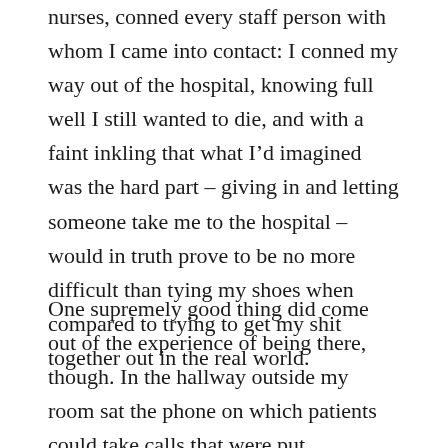nurses, conned every staff person with whom I came into contact: I conned my way out of the hospital, knowing full well I still wanted to die, and with a faint inkling that what I'd imagined was the hard part – giving in and letting someone take me to the hospital – would in truth prove to be no more difficult than tying my shoes when compared to trying to get my shit together out in the real world.
One supremely good thing did come out of the experience of being there, though. In the hallway outside my room sat the phone on which patients could take calls that were put